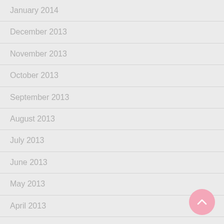January 2014
December 2013
November 2013
October 2013
September 2013
August 2013
July 2013
June 2013
May 2013
April 2013
March 2013